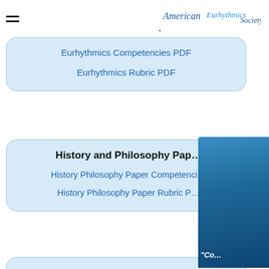American Eurhythmics Society
Eurhythmics Competencies PDF
Eurhythmics Rubric PDF
History and Philosophy Pap...
History Philosophy Paper Competenci...
History Philosophy Paper Rubric P...
"Co...